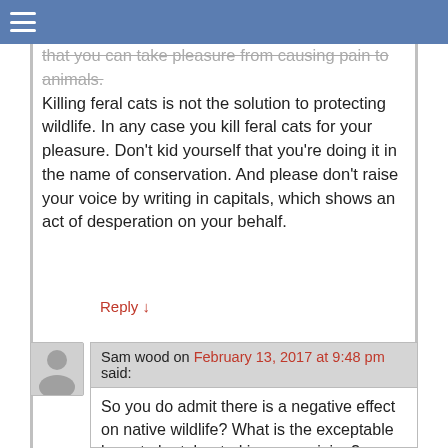≡ (navigation bar)
that you can take pleasure from causing pain to animals. Killing feral cats is not the solution to protecting wildlife. In any case you kill feral cats for your pleasure. Don't kid yourself that you're doing it in the name of conservation. And please don't raise your voice by writing in capitals, which shows an act of desperation on your behalf.
Reply ↓
Sam wood on February 13, 2017 at 9:48 pm said:
So you do admit there is a negative effect on native wildlife? What is the exceptable lever to be tolerated in your opinion?
There have been scientific studies also done on traps designed to instantly kill but I am sure you are not interested in them scientific studies either navies thy don't fit your cause. Never once did I say I take pleasure in killing a cat it is just the right thing to do. Your feel good programs don't work if they did the problem would at least be getting smaller enstead of